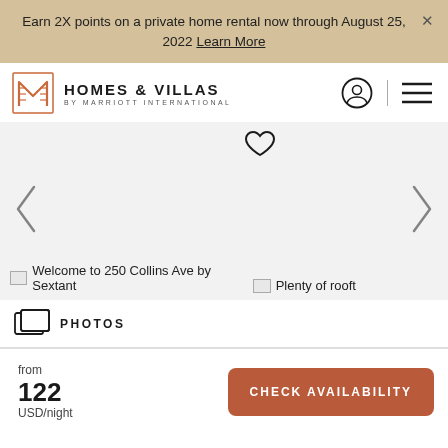Earn 2X points on a private home rental now through August 25, 2022 Learn More
[Figure (logo): Homes & Villas by Marriott International logo with stylized M icon in terracotta/orange outline]
[Figure (screenshot): Photo carousel showing two property images: 'Welcome to 250 Collins Ave by Sextant' and 'Plenty of rooft...' with navigation arrows and heart/favorite button]
PHOTOS
from
122
USD/night
CHECK AVAILABILITY